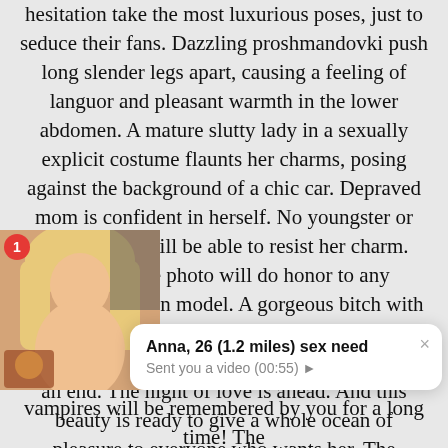hesitation take the most luxurious poses, just to seduce their fans. Dazzling proshmandovki push long slender legs apart, causing a feeling of languor and pleasant warmth in the lower abdomen. A mature slutty lady in a sexually explicit costume flaunts her charms, posing against the background of a chic car. Depraved mom is confident in herself. No youngster or mature man will be able to resist her charm. Such a nude photo will do honor to any professional porn model. A gorgeous bitch with a slender figure poses against the background of the sea and sunset. The sunny day is coming to an end. The night of love is ahead. And this beauty is ready to give a whole ocean of pleasure to everyone who wants her. The transparent scarf in her hands gives the photos a special sophistication.
[Figure (screenshot): Notification popup overlay with thumbnail image of a blonde woman on the left and a chat notification card on the right reading 'Anna, 26 (1.2 miles) sex need' with subtitle 'Sent you a video (00:55) ►' and a close X button. A red badge with number 1 appears on the thumbnail.]
vampires will be remembered by you for a long time! The